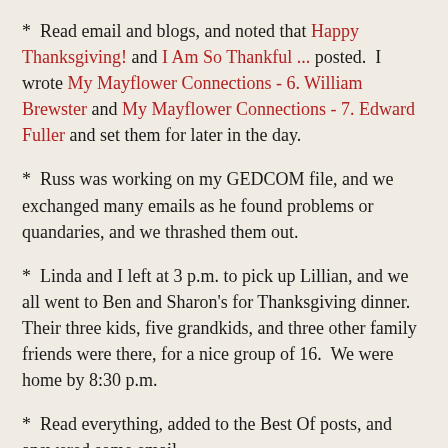*  Read email and blogs, and noted that Happy Thanksgiving! and I Am So Thankful ... posted.  I wrote My Mayflower Connections - 6. William Brewster and My Mayflower Connections - 7. Edward Fuller and set them for later in the day.
*  Russ was working on my GEDCOM file, and we exchanged many emails as he found problems or quandaries, and we thrashed them out.
*  Linda and I left at 3 p.m. to pick up Lillian, and we all went to Ben and Sharon's for Thanksgiving dinner.  Their three kids, five grandkids, and three other family friends were there, for a nice group of 16.  We were home by 8:30 p.m.
*  Read everything, added to the Best Of posts, and answered some email.
2)  Friday, 25 November 2011:
*  No, I didn't go shopping at midnight, at 4 a.m., or anytime